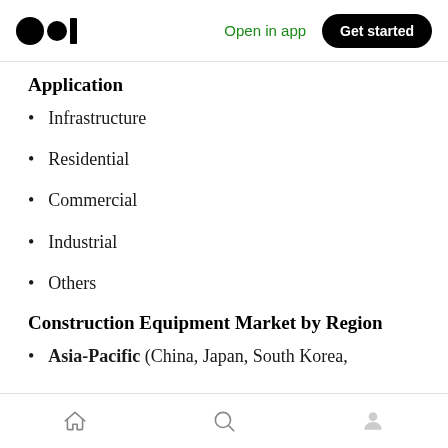Open in app  Get started
Application
Infrastructure
Residential
Commercial
Industrial
Others
Construction Equipment Market by Region
Asia-Pacific (China, Japan, South Korea,
Home  Search  Profile